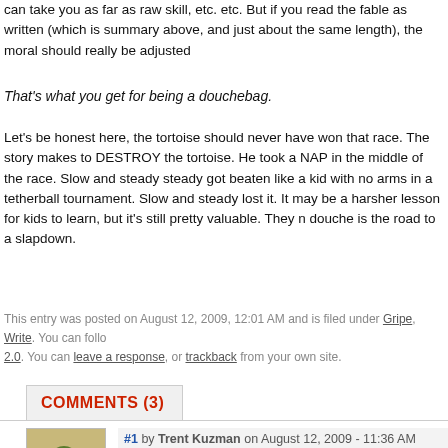can take you as far as raw skill, etc. etc. But if you read the fable as written (which is summary above, and just about the same length), the moral should really be adjusted
That's what you get for being a douchebag.
Let's be honest here, the tortoise should never have won that race. The story makes to DESTROY the tortoise. He took a NAP in the middle of the race. Slow and steady steady got beaten like a kid with no arms in a tetherball tournament. Slow and steady lost it. It may be a harsher lesson for kids to learn, but it's still pretty valuable. They n douche is the road to a slapdown.
This entry was posted on August 12, 2009, 12:01 AM and is filed under Gripe, Write. You can follow 2.0. You can leave a response, or trackback from your own site.
COMMENTS (3)
#1 by Trent Kuzman on August 12, 2009 - 11:36 AM
I always preferred the Looney Toons telling of the tale. Hares are dou cheaters.
#2 by Alishia on August 11, 2013 - 7:06 PM